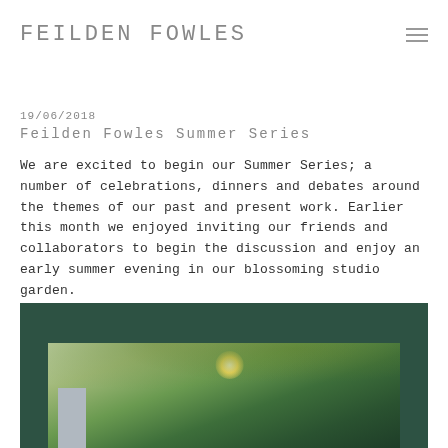FEILDEN FOWLES
19/06/2018
Feilden Fowles Summer Series
We are excited to begin our Summer Series; a number of celebrations, dinners and debates around the themes of our past and present work. Earlier this month we enjoyed inviting our friends and collaborators to begin the discussion and enjoy an early summer evening in our blossoming studio garden.
[Figure (photo): Outdoor garden photo showing trees with sunlight filtering through leaves, with a building visible in the background against a dark green background.]